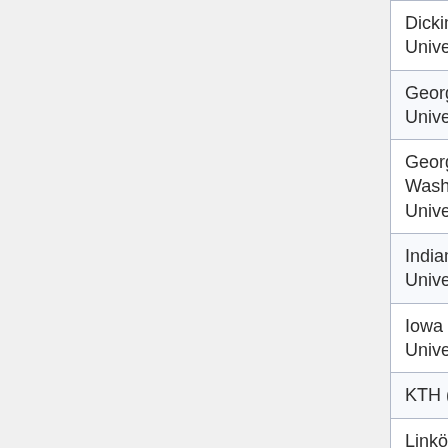| Institution | Country | URL |
| --- | --- | --- |
| Dickinson University | USA | http://alpha. |
| Georgetown University | USA | http://peopl |
| George Washington University | USA | http://home |
| Indiana University | USA | http://www. |
| Iowa State University | USA | http://USER |
| KTH (Sweden) | Sweden | http://www.s |
| Linköpings universitet | Sweden | https://www. |
| Monash University | Australia | http://www. |
| National |  |  |